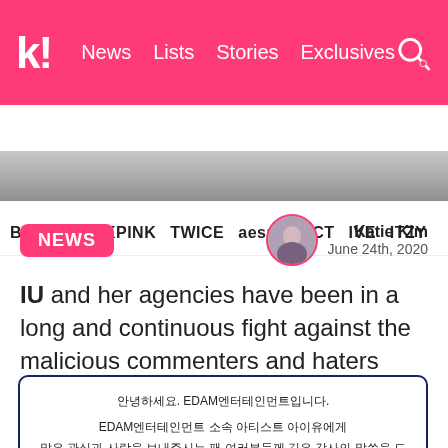k! News  Lists  Stories  Exclusives
BTS  BLACKPINK  TWICE  aespa  NCT  IVE  ITZY
[Figure (photo): Partial photo of a person, cropped at top of article]
NEWS
Katie Kim
June 24th, 2020
IU and her agencies have been in a long and continuous fight against the malicious commenters and haters who harass both her and her fans.
안녕하세요. EDAM엔터테인먼트입니다.

EDAM엔터테인먼트 소속 아티스트 아이유에게
많은 관심과 사랑을 보내주시는 팬 여러분들께 깊은 감사의 말씀을 드립니다.

앞서 EDAM엔터테인먼트는 아티스트 아이유에 대한